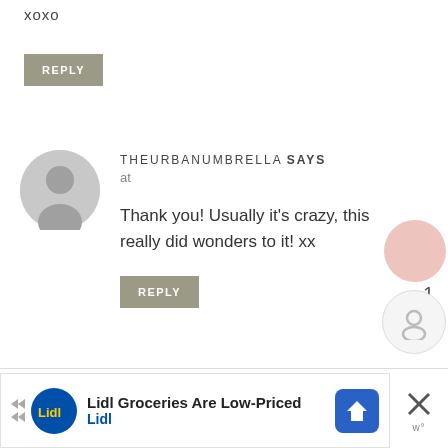xoxo
REPLY
THEURBANUMBRELLA SAYS
at
Thank you! Usually it's crazy, this really did wonders to it! xx
REPLY
Lidl Groceries Are Low-Priced
Lidl